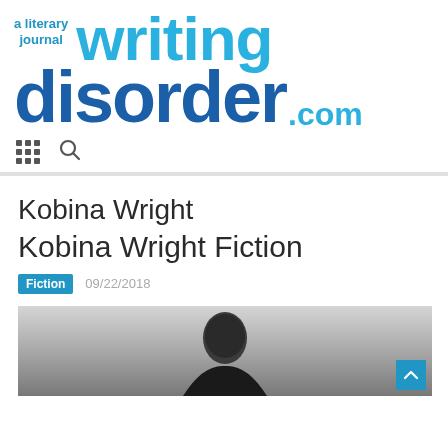[Figure (logo): Writing Disorder literary journal logo with 'a literary journal' in small blue text, 'writing' in large light blue bold text, 'disorder' in large dark blue bold text, and '.com' in light blue]
[Figure (infographic): Navigation bar with grid/apps icon and search magnifier icon]
Kobina Wright
Kobina Wright Fiction
Fiction  09/22/2018
[Figure (photo): Black and white photo of a person, partially cropped, showing head/shoulders with dark hair]